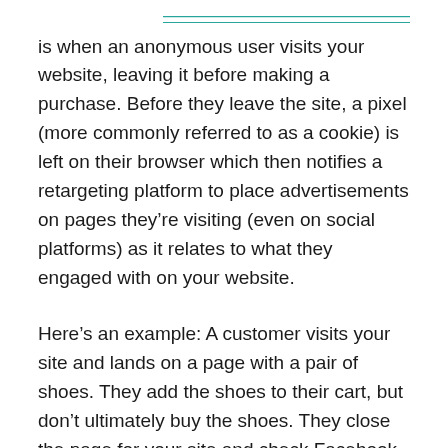is when an anonymous user visits your website, leaving it before making a purchase. Before they leave the site, a pixel (more commonly referred to as a cookie) is left on their browser which then notifies a retargeting platform to place advertisements on pages they’re visiting (even on social platforms) as it relates to what they engaged with on your website.
Here’s an example: A customer visits your site and lands on a page with a pair of shoes. They add the shoes to their cart, but don’t ultimately buy the shoes. They close the page for your site and check Facebook. Right there on Facebook, they’ll see an ad for the exact...